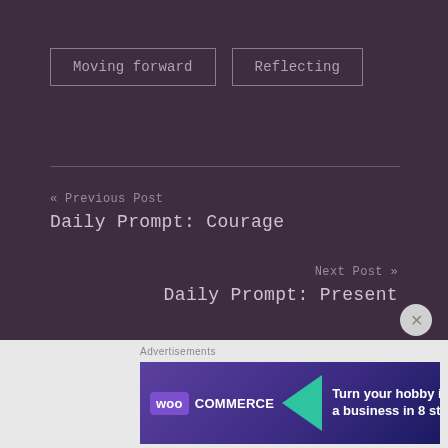Moving forward
Reflecting
« Previous Post
Daily Prompt: Courage
Next Post »
Daily Prompt: Present
30 comments
[Figure (other): WooCommerce advertisement banner: Turn your hobby into a business in 8 steps]